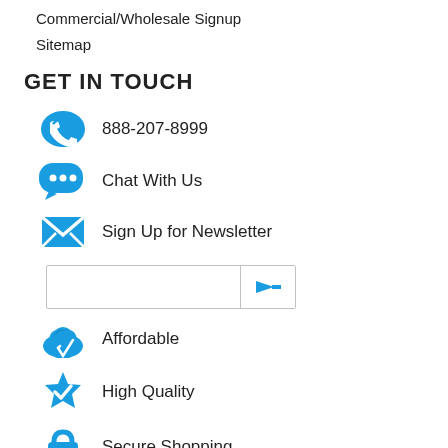Commercial/Wholesale Signup
Sitemap
GET IN TOUCH
888-207-8999
Chat With Us
Sign Up for Newsletter
[Figure (other): Newsletter email input field with blue arrow submit button]
Affordable
High Quality
Secure Shopping
Quick Delivery